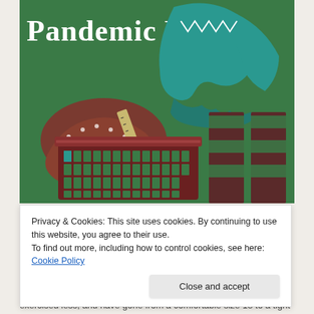[Figure (illustration): Illustration titled 'Pandemic Purge' on a green background showing a laundry basket with clothing items including a teal sweater, striped pants, and a brown dotted garment being sorted or purged.]
Privacy & Cookies: This site uses cookies. By continuing to use this website, you agree to their use.
To find out more, including how to control cookies, see here: Cookie Policy
Close and accept
Dear June, Since the start of this pandemic, I have eaten more and exercised less, and have gone from a comfortable size 18 to a tight size 16